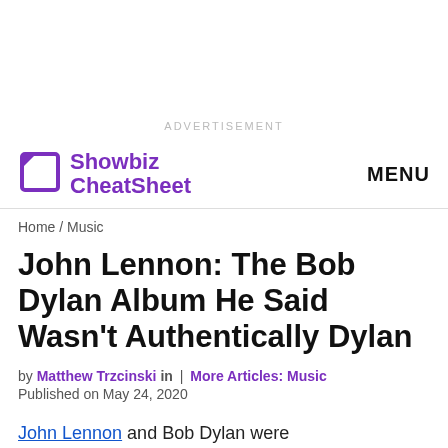ADVERTISEMENT
Showbiz CheatSheet  MENU
Home / Music
John Lennon: The Bob Dylan Album He Said Wasn’t Authentically Dylan
by Matthew Trzcinski in | More Articles: Music
Published on May 24, 2020
John Lennon and Bob Dylan were